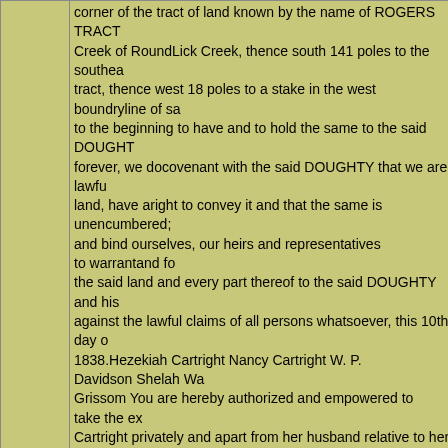corner of the tract of land known by the name of ROGERS TRACT Creek of RoundLick Creek, thence south 141 poles to the southeast tract, thence west 18 poles to a stake in the west boundryline of sa to the beginning to have and to hold the same to the said DOUGHT forever, we docovenantwith the said DOUGHTY that we are lawfu land,have aright to convey it and that the same is unencumbered; and bind ourselves, our heirs and representatives to warrantand fo the said land and every partthereof to the said DOUGHTY and his against the lawfulclaims ofall persons whatsoever, this 10th day o 1838.Hezekiah CartrightNancy CartrightW. P. DavidsonShelah Wa GrissomYou are hereby authorized and empowered to take the ex Cartright privately and apart fromherhusband relative to her free e deed andthe sameso taken to certify under your hand and seal. W S.McClainof the County Court of Wilson County at this office this 1838.J.D. McClainhaving personally appeared before me and hav mevested her, examined privately and apart from her husbandHez having acknowledged the due executions of thewithindeed by her compulsion, constraintcoertionby her said husband, the same is th Witness myhandand seal this 22nd day of September, 1838.Shela
319    Age 40, South Division township, Smith county, TN, 1850. Cooksey.